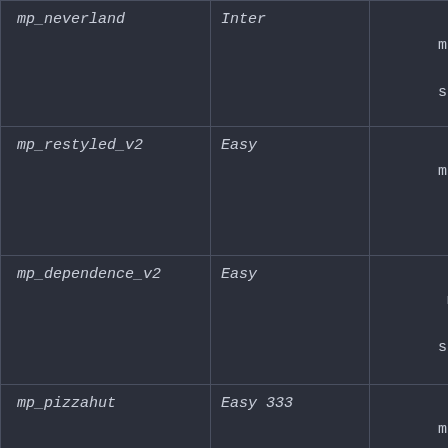| Map | Difficulty | Time |
| --- | --- | --- |
| mp_neverland | Inter | 53 minutes - 56 seconds |
| mp_restyled_v2 | Easy | 29 minutes - 1 second |
| mp_dependence_v2 | Easy | 1 minute - 49 seconds |
| mp_pizzahut | Easy 333 | 0 minutes - 43 seconds |